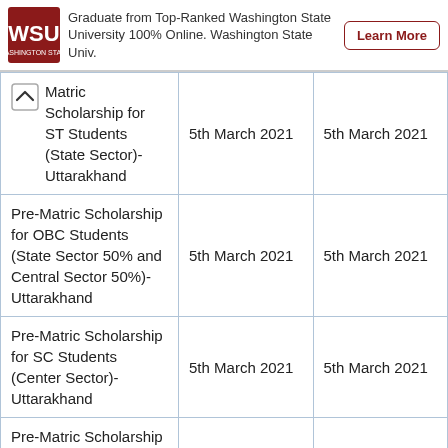[Figure (other): Advertisement banner for Washington State University online program with logo and Learn More button]
| Matric Scholarship for ST Students (State Sector)-Uttarakhand | 5th March 2021 | 5th March 2021 |
| Pre-Matric Scholarship for OBC Students (State Sector 50% and Central Sector 50%)-Uttarakhand | 5th March 2021 | 5th March 2021 |
| Pre-Matric Scholarship for SC Students (Center Sector)-Uttarakhand | 5th March 2021 | 5th March 2021 |
| Pre-Matric Scholarship for ST |  |  |